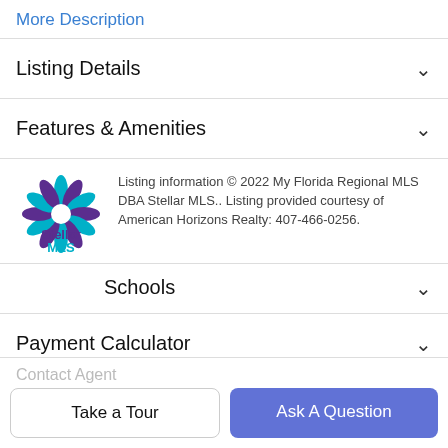More Description
Listing Details
Features & Amenities
[Figure (logo): Stellar MLS logo — a teal and purple starburst with 'Stellar MLS' text below]
Listing information © 2022 My Florida Regional MLS DBA Stellar MLS.. Listing provided courtesy of American Horizons Realty: 407-466-0256.
Schools
Payment Calculator
Contact Agent
Take a Tour
Ask A Question